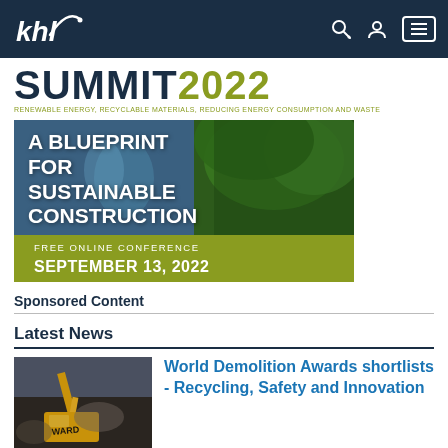khl
SUMMIT 2022
RENEWABLE ENERGY, RECYCLABLE MATERIALS, REDUCING ENERGY CONSUMPTION AND WASTE
[Figure (illustration): Banner image for KHL Summit 2022 - A Blueprint for Sustainable Construction, Free Online Conference, September 13, 2022. Background shows tree canopy and sky.]
Sponsored Content
Latest News
[Figure (photo): Photo of a yellow excavator/demolition machine with WARD written on it, working at a demolition site.]
World Demolition Awards shortlists - Recycling, Safety and Innovation